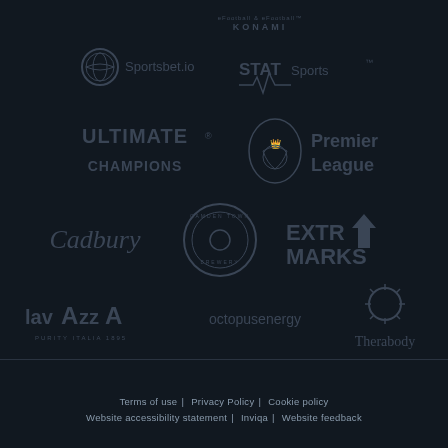[Figure (logo): Konami logo - dark text on dark background]
[Figure (logo): Sportsbet.io logo with circle icon]
[Figure (logo): STATSports logo with waveform]
[Figure (logo): Ultimate Champions logo in caps]
[Figure (logo): Premier League logo with lion crest]
[Figure (logo): Cadbury cursive script logo]
[Figure (logo): Camden Town Brewery circular logo]
[Figure (logo): ExtraMarks logo with arrow]
[Figure (logo): LavAzza logo with tagline]
[Figure (logo): Octopus Energy logo]
[Figure (logo): Therabody logo with sun icon]
Terms of use | Privacy Policy | Cookie policy | Website accessibility statement | Inviqa | Website feedback